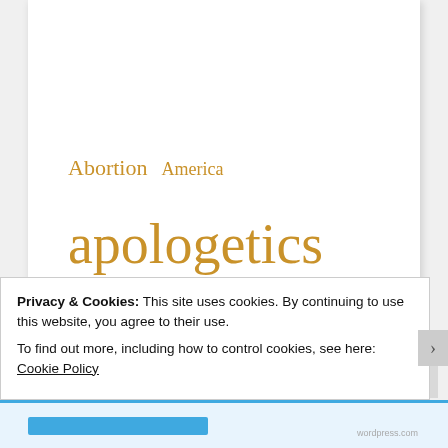[Figure (other): Tag cloud showing topics: Abortion, America, apologetics, Apologetics Class, Atheist Conversions, Bible, biblical — all in golden/amber color on white background, varying font sizes indicating frequency/importance]
Privacy & Cookies: This site uses cookies. By continuing to use this website, you agree to their use.
To find out more, including how to control cookies, see here: Cookie Policy
Close and accept